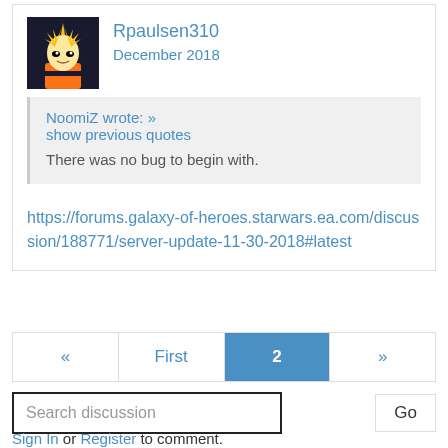Rpaulsen310
December 2018
NoomiZ wrote: » show previous quotes
There was no bug to begin with.
https://forums.galaxy-of-heroes.starwars.ea.com/discussion/188771/server-update-11-30-2018#latest
« First 2 »
Search discussion
Go
Sign In or Register to comment.